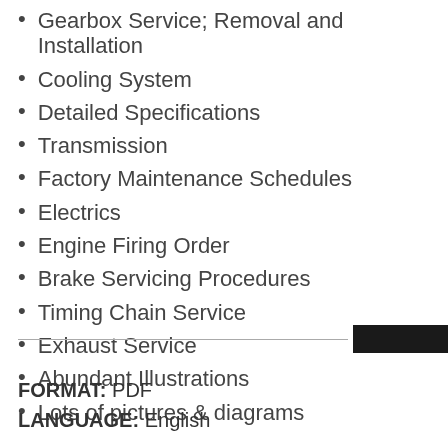Gearbox Service; Removal and Installation
Cooling System
Detailed Specifications
Transmission
Factory Maintenance Schedules
Electrics
Engine Firing Order
Brake Servicing Procedures
Timing Chain Service
Exhaust Service
Abundant Illustrations
Lots of pictures & diagrams
FORMAT: PDF
LANGUAGE: English